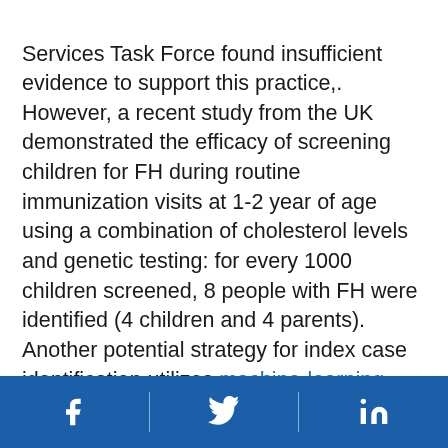Services Task Force found insufficient evidence to support this practice,. However, a recent study from the UK demonstrated the efficacy of screening children for FH during routine immunization visits at 1-2 year of age using a combination of cholesterol levels and genetic testing: for every 1000 children screened, 8 people with FH were identified (4 children and 4 parents). Another potential strategy for index case identification utilizes machine-learning techniques to mine EHR data, laboratory data, and billing code data to “flag” individuals with characteristics consistent with FH for formal identification by a physician. Finally, a recent study also reported that large-scale DNA sequencing is effective in identifying FH cases that had not been diagnosed clinically and would not have been
Facebook | Twitter | LinkedIn